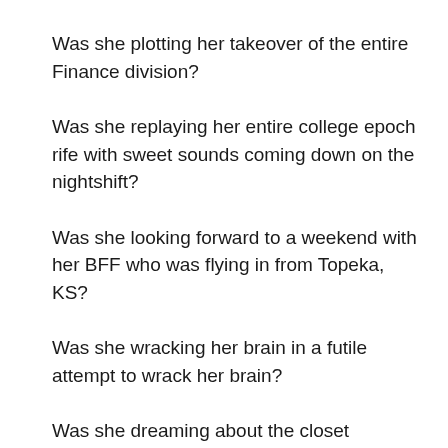Was she plotting her takeover of the entire Finance division?
Was she replaying her entire college epoch rife with sweet sounds coming down on the nightshift?
Was she looking forward to a weekend with her BFF who was flying in from Topeka, KS?
Was she wracking her brain in a futile attempt to wrack her brain?
Was she dreaming about the closet makeover she had saved for and planned for over a year?